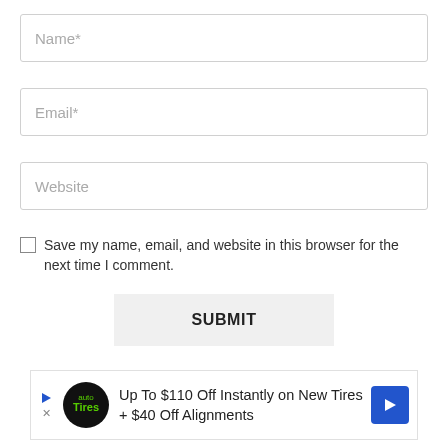Name*
Email*
Website
Save my name, email, and website in this browser for the next time I comment.
SUBMIT
[Figure (other): Advertisement banner: Up To $110 Off Instantly on New Tires + $40 Off Alignments]